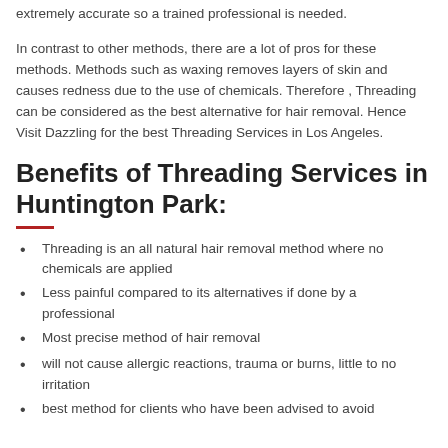extremely accurate so a trained professional is needed.
In contrast to other methods, there are a lot of pros for these methods. Methods such as waxing removes layers of skin and causes redness due to the use of chemicals. Therefore , Threading can be considered as the best alternative for hair removal. Hence Visit Dazzling for the best Threading Services in Los Angeles.
Benefits of Threading Services in Huntington Park:
Threading is an all natural hair removal method where no chemicals are applied
Less painful compared to its alternatives if done by a professional
Most precise method of hair removal
will not cause allergic reactions, trauma or burns, little to no irritation
best method for clients who have been advised to avoid